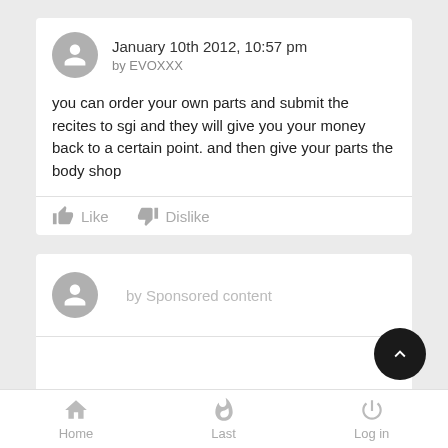January 10th 2012, 10:57 pm by EVOXXX
you can order your own parts and submit the recites to sgi and they will give you your money back to a certain point. and then give your parts the body shop
Like  Dislike
by Sponsored content
Home  Last  Log in